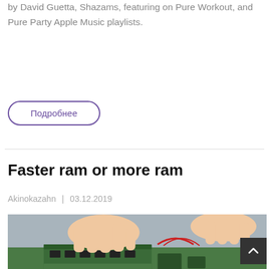by David Guetta, Shazams, featuring on Pure Workout, and Pure Party Apple Music playlists.
Подробнее
Faster ram or more ram
Akinokazahn | 03.12.2019
[Figure (photo): Person installing or handling RAM sticks on a green circuit board motherboard]